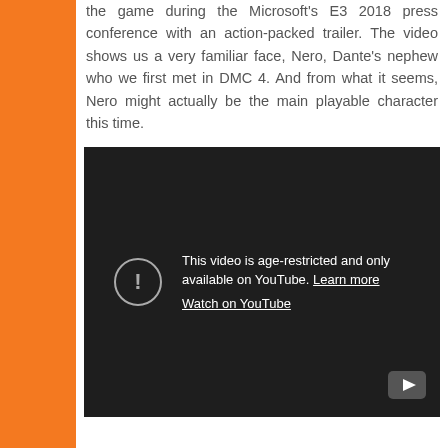the game during the Microsoft's E3 2018 press conference with an action-packed trailer. The video shows us a very familiar face, Nero, Dante's nephew who we first met in DMC 4. And from what it seems, Nero might actually be the main playable character this time.
[Figure (screenshot): Embedded YouTube video player showing age-restriction message: 'This video is age-restricted and only available on YouTube. Learn more' with a 'Watch on YouTube' link. Dark background with warning icon (exclamation mark in circle) and YouTube logo in bottom right corner.]